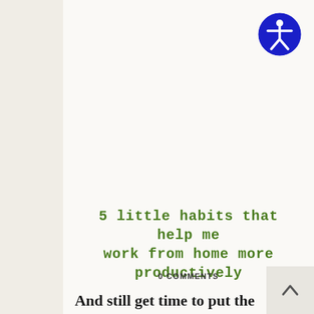[Figure (logo): Accessibility icon: blue circle with white human figure (arms and legs extended) in the center, representing web accessibility]
5 little habits that help me work from home more productively
0 COMMENTS
And still get time to put the